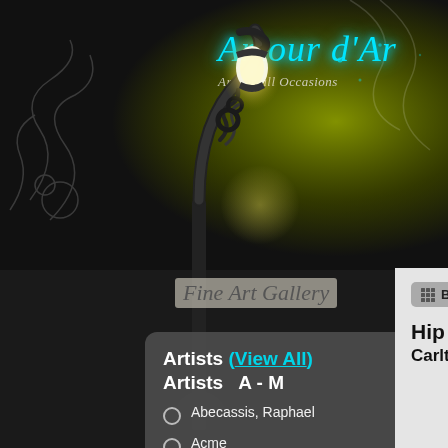Amour d'A...  Art for all Occasions
Fine Art Gallery
Artists (View All)
Artists  A - M
Abecassis, Raphael
Acme
ADDITIONAL SHIPPING CHARGES
Afremov, Leonid 1955-2019
Back to List
Hip To Be Squa...
Carlton,Trevor